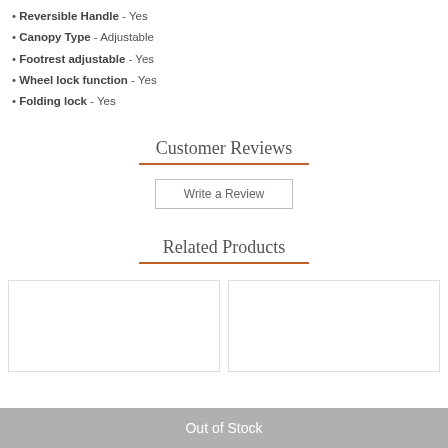• Reversible Handle - Yes
• Canopy Type - Adjustable
• Footrest adjustable - Yes
• Wheel lock function - Yes
• Folding lock - Yes
Customer Reviews
Write a Review
Related Products
[Figure (other): Two empty product card placeholders side by side]
Out of Stock